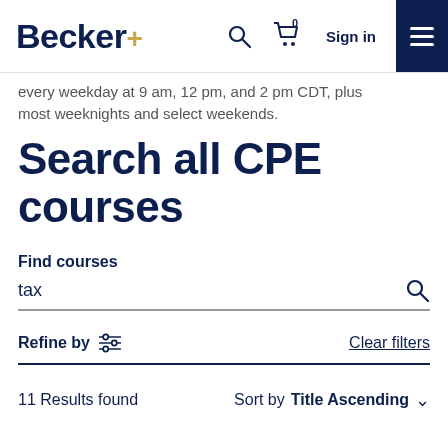Becker+ [navigation bar with search, cart (0), Sign in, menu]
every weekday at 9 am, 12 pm, and 2 pm CDT, plus most weeknights and select weekends.
Search all CPE courses
Find courses
tax
Refine by
Clear filters
11 Results found   Sort by   Title Ascending